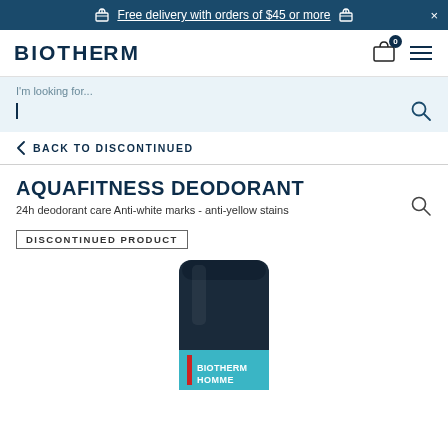Free delivery with orders of $45 or more
[Figure (logo): Biotherm logo in dark navy bold letters]
I'm looking for...
< BACK TO DISCONTINUED
AQUAFITNESS DEODORANT
24h deodorant care Anti-white marks - anti-yellow stains
DISCONTINUED PRODUCT
[Figure (photo): Biotherm Homme Aquafitness deodorant stick product photo, showing a dark navy/teal cylindrical deodorant container with Biotherm Homme branding and a teal label]